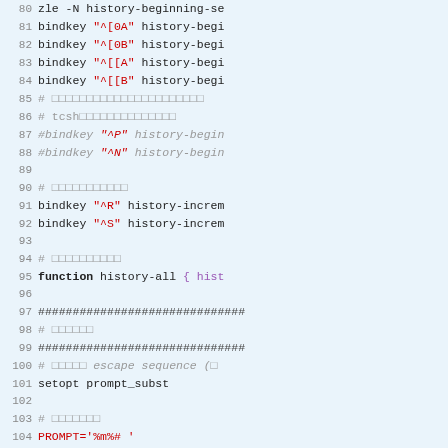[Figure (screenshot): Code editor screenshot showing zsh/tcsh shell configuration lines 80-107 with syntax highlighting on light blue background]
[Figure (screenshot): Right sidebar with Japanese navigation, Xserver rental server ad, Sakura rental server ad, affiliate ad, and smaller grey boxes]